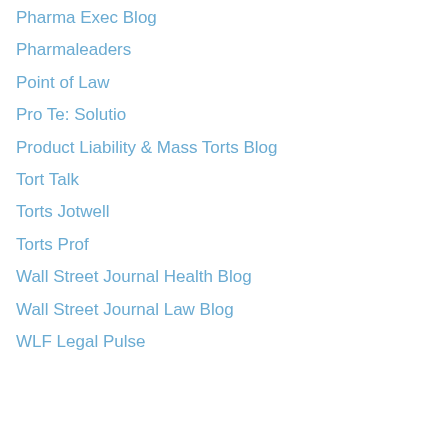Pharma Exec Blog
Pharmaleaders
Point of Law
Pro Te: Solutio
Product Liability & Mass Torts Blog
Tort Talk
Torts Jotwell
Torts Prof
Wall Street Journal Health Blog
Wall Street Journal Law Blog
WLF Legal Pulse